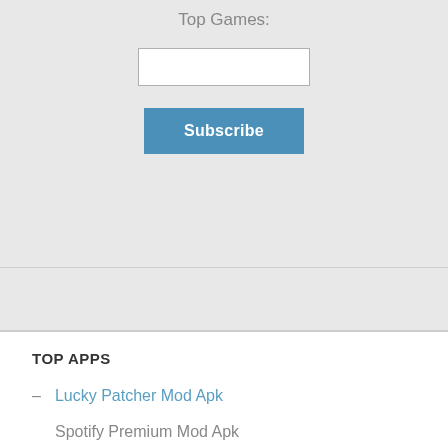Top Games:
Subscribe
TOP APPS
Lucky Patcher Mod Apk
Spotify Premium Mod Apk